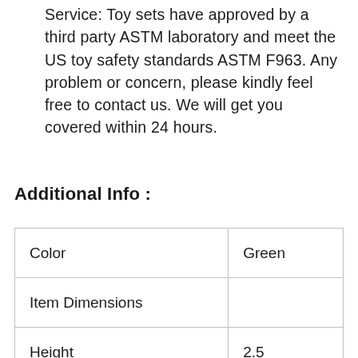Service: Toy sets have approved by a third party ASTM laboratory and meet the US toy safety standards ASTM F963. Any problem or concern, please kindly feel free to contact us. We will get you covered within 24 hours.
Additional Info :
| Color | Green |
| Item Dimensions |  |
| Height | 2.5 |
| Width | 9 |
| Length | 12 |